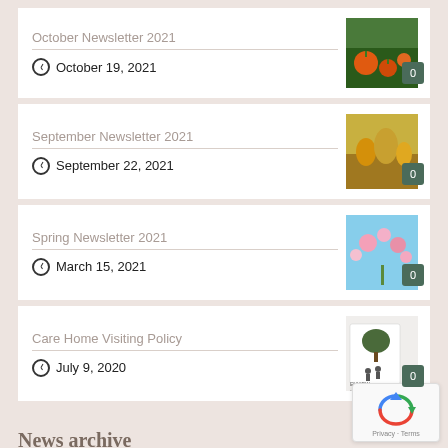October Newsletter 2021 — October 19, 2021
September Newsletter 2021 — September 22, 2021
Spring Newsletter 2021 — March 15, 2021
Care Home Visiting Policy — July 9, 2020
News archive
[Figure (screenshot): reCAPTCHA privacy widget with 'Privacy · Terms' text]